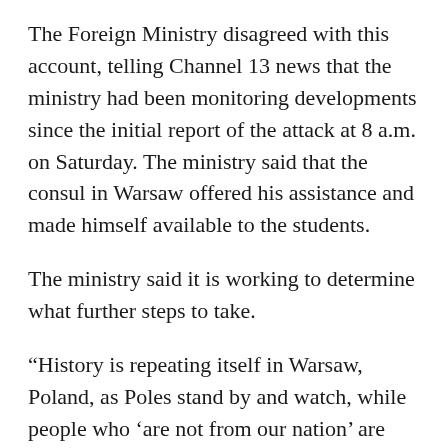The Foreign Ministry disagreed with this account, telling Channel 13 news that the ministry had been monitoring developments since the initial report of the attack at 8 a.m. on Saturday. The ministry said that the consul in Warsaw offered his assistance and made himself available to the students.
The ministry said it is working to determine what further steps to take.
“History is repeating itself in Warsaw, Poland, as Poles stand by and watch, while people who ‘are not from our nation’ are beating Jews until they lose consciousnesses,” Barak Kashpizky wrote on Facebook, where he posted photos of his brother’s bloodied face. “Today it is my twin brother